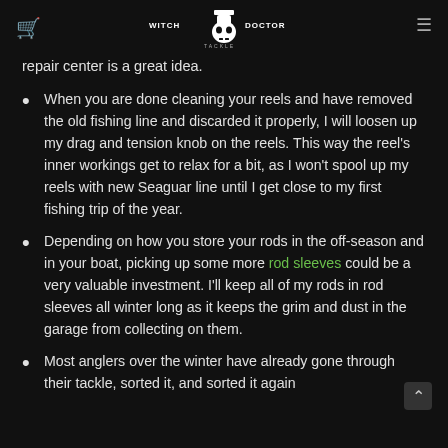Witch Doctor Tackle logo
repair center is a great idea.
When you are done cleaning your reels and have removed the old fishing line and discarded it properly, I will loosen up my drag and tension knob on the reels. This way the reel's inner workings get to relax for a bit, as I won't spool up my reels with new Seaguar line until I get close to my first fishing trip of the year.
Depending on how you store your rods in the off-season and in your boat, picking up some more rod sleeves could be a very valuable investment. I'll keep all of my rods in rod sleeves all winter long as it keeps the grim and dust in the garage from collecting on them.
Most anglers over the winter have already gone through their tackle, sorted it, and sorted it again